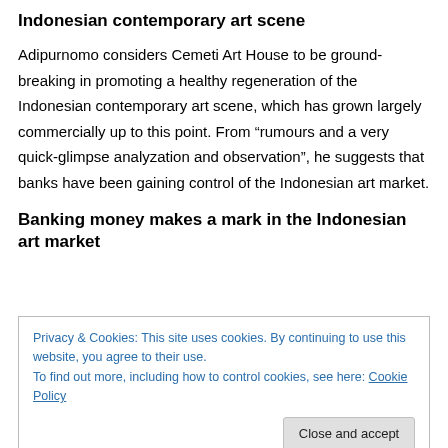Indonesian contemporary art scene
Adipurnomo considers Cemeti Art House to be ground-breaking in promoting a healthy regeneration of the Indonesian contemporary art scene, which has grown largely commercially up to this point. From “rumours and a very quick-glimpse analyzation and observation”, he suggests that banks have been gaining control of the Indonesian art market.
Banking money makes a mark in the Indonesian art market
Privacy & Cookies: This site uses cookies. By continuing to use this website, you agree to their use.
To find out more, including how to control cookies, see here: Cookie Policy
[Close and accept button]
known: Dr. Ooi Hong Djon is going international quickly